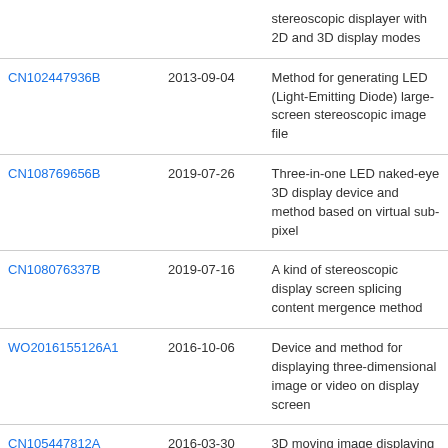| Patent | Date | Description |
| --- | --- | --- |
|  |  | stereoscopic displayer with 2D and 3D display modes |
| CN102447936B | 2013-09-04 | Method for generating LED (Light-Emitting Diode) large-screen stereoscopic image file |
| CN108769656B | 2019-07-26 | Three-in-one LED naked-eye 3D display device and method based on virtual sub-pixel |
| CN108076337B | 2019-07-16 | A kind of stereoscopic display screen splicing content mergence method |
| WO2016155126A1 | 2016-10-06 | Device and method for displaying three-dimensional image or video on display screen |
| CN105447812A | 2016-03-30 | 3D moving image displaying and information hiding method based on... |